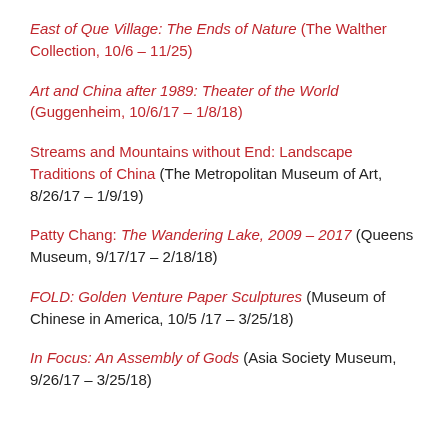East of Que Village: The Ends of Nature (The Walther Collection, 10/6 – 11/25)
Art and China after 1989: Theater of the World (Guggenheim, 10/6/17 – 1/8/18)
Streams and Mountains without End: Landscape Traditions of China (The Metropolitan Museum of Art, 8/26/17 – 1/9/19)
Patty Chang: The Wandering Lake, 2009 – 2017 (Queens Museum, 9/17/17 – 2/18/18)
FOLD: Golden Venture Paper Sculptures (Museum of Chinese in America, 10/5 /17 – 3/25/18)
In Focus: An Assembly of Gods (Asia Society Museum, 9/26/17 – 3/25/18)